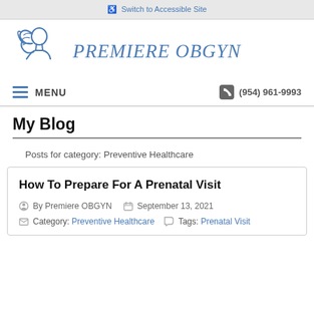Switch to Accessible Site
[Figure (logo): Premiere OBGYN logo with stylized woman figure and italic text 'PREMIERE OBGYN']
MENU   (954) 961-9993
My Blog
Posts for category: Preventive Healthcare
How To Prepare For A Prenatal Visit
By Premiere OBGYN   September 13, 2021
Category: Preventive Healthcare   Tags: Prenatal Visit